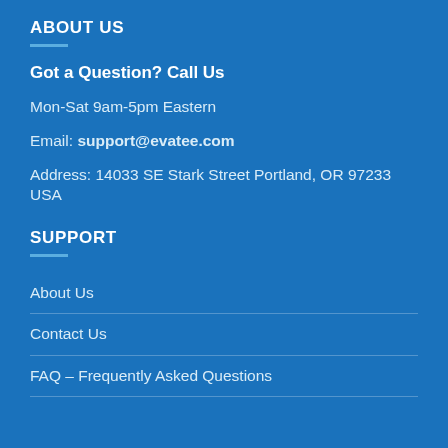ABOUT US
Got a Question? Call Us
Mon-Sat 9am-5pm Eastern
Email: support@evatee.com
Address: 14033 SE Stark Street Portland, OR 97233 USA
SUPPORT
About Us
Contact Us
FAQ – Frequently Asked Questions